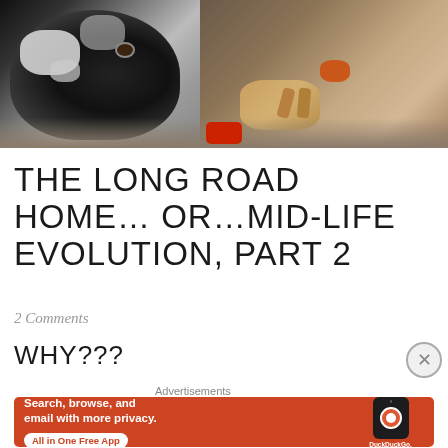[Figure (photo): A black and white spotted dog (spaniel-like breed) lying in a dog bed with a stuffed toy animal visible beside it]
THE LONG ROAD HOME… OR…MID-LIFE EVOLUTION, PART 2
2 Comments
WHY???
Advertisements
[Figure (screenshot): DuckDuckGo advertisement banner with orange background, text 'Search, browse, and email with more privacy. All in One Free App' with DuckDuckGo logo and phone image]